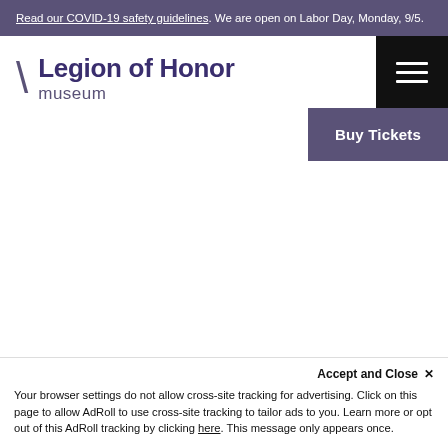Read our COVID-19 safety guidelines. We are open on Labor Day, Monday, 9/5.
Legion of Honor museum
Buy Tickets
Accept and Close ✕ Your browser settings do not allow cross-site tracking for advertising. Click on this page to allow AdRoll to use cross-site tracking to tailor ads to you. Learn more or opt out of this AdRoll tracking by clicking here. This message only appears once.